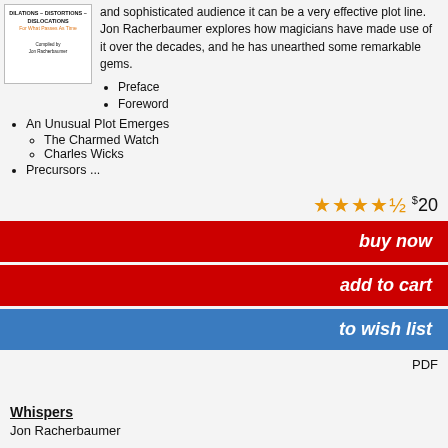[Figure (illustration): Book cover thumbnail showing text: DILATIONS - DISTORTIONS - DISLOCATIONS / For What Passes As Time / Compiled by Jon Racherbaumer]
and sophisticated audience it can be a very effective plot line. Jon Racherbaumer explores how magicians have made use of it over the decades, and he has unearthed some remarkable gems.
Preface
Foreword
An Unusual Plot Emerges
The Charmed Watch
Charles Wicks
Precursors ...
★★★★½  $20
buy now
add to cart
to wish list
PDF
Whispers
Jon Racherbaumer